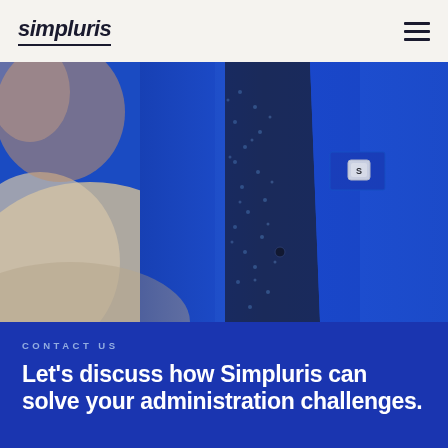simpluris
[Figure (photo): Close-up photo of a person wearing a bright royal blue blazer over a dark navy patterned shirt with small white dot/floral print. A small silver square pin/badge with an 'S' logo is on the lapel. Another person in a beige/tan outfit is partially visible in the foreground blur.]
CONTACT US
Let's discuss how Simpluris can solve your administration challenges.